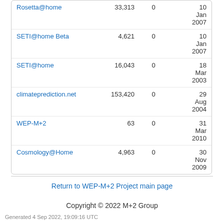| Name | Members | Online | Date |
| --- | --- | --- | --- |
| Rosetta@home | 33,313 | 0 | 10 Jan 2007 |
| SETI@home Beta | 4,621 | 0 | 10 Jan 2007 |
| SETI@home | 16,043 | 0 | 18 Mar 2003 |
| climateprediction.net | 153,420 | 0 | 29 Aug 2004 |
| WEP-M+2 | 63 | 0 | 31 Mar 2010 |
| Cosmology@Home | 4,963 | 0 | 30 Nov 2009 |
Return to WEP-M+2 Project main page
Copyright © 2022 M+2 Group
Generated 4 Sep 2022, 19:09:16 UTC